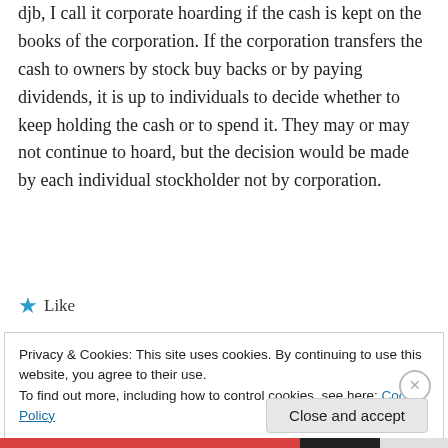djb, I call it corporate hoarding if the cash is kept on the books of the corporation. If the corporation transfers the cash to owners by stock buy backs or by paying dividends, it is up to individuals to decide whether to keep holding the cash or to spend it. They may or may not continue to hoard, but the decision would be made by each individual stockholder not by corporation.
★ Like
Privacy & Cookies: This site uses cookies. By continuing to use this website, you agree to their use.
To find out more, including how to control cookies, see here: Cookie Policy
Close and accept